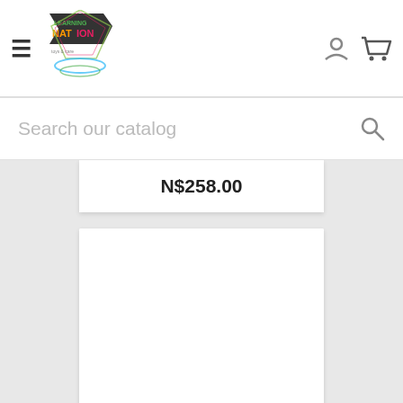[Figure (logo): Learning Nation logo with colorful text and graphic element]
Search our catalog
N$258.00
[Figure (photo): Blank white product image area for Pink Baby Shark Party Set]
Pink Baby Shark Party Set
N$258.00